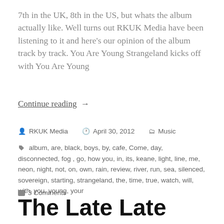7th in the UK, 8th in the US, but whats the album actually like. Well turns out RKUK Media have been listening to it and here's our opinion of the album track by track.  You Are Young Strangeland kicks off with You Are Young
Continue reading  →
RKUK Media   April 30, 2012   Music
album, are, black, boys, by, cafe, Come, day, disconnected, fog , go, how you, in, its, keane, light, line, me, neon, night, not, on, own, rain, review, river, run, sea, silenced, sovereign, starting, strangeland, the, time, true, watch, will, with, you, young, your
3 Comments
The Late Late Show